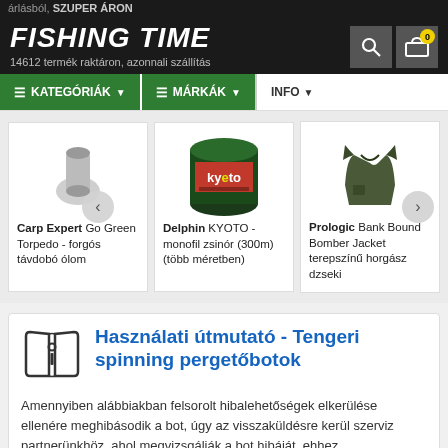FISHING TIME - 14612 termék raktáron, azonnali szállítás
≡ KATEGÓRIÁK ▾  ≡ MÁRKÁK ▾  INFO ▾
[Figure (photo): Delphin KYOTO monofil zsinór spool product image]
Carp Expert Go Green Torpedo - forgós távdobó ólom
Delphin KYOTO - monofil zsinór (300m) (több méretben)
Prologic Bank Bound Bomber Jacket terepszínű horgász dzseki
Használati útmutató - Tengeri spinning pergetőbotok
Amennyiben alábbiakban felsorolt hibalehetőségek elkerülése ellenére meghibásodik a bot, úgy az visszaküldésre kerül szerviz partnerünkhöz, ahol megvizsgálják a bot hibáját, ehhez...
Használati útmutató letöltése»